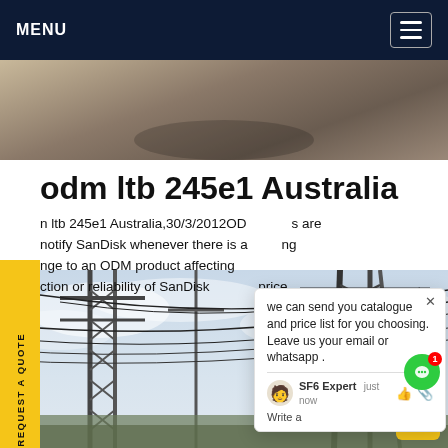MENU
[Figure (photo): Aerial or ground-level photo of a surface with shadows, partially visible]
odm ltb 245e1 Australia
n ltb 245e1 Australia,30/3/2012OD … s are notify SanDisk whenever there is a … ng … nge to an ODM product affecting … ction or reliability of SanDisk … price
[Figure (photo): Photo of electrical power transmission towers with power lines against a cloudy sky, with a helicopter visible in the distance]
we can send you catalogue and price list for you choosing.
Leave us your email or whatsapp .
SF6 Expert   just now
Write a
REQUEST A QUOTE